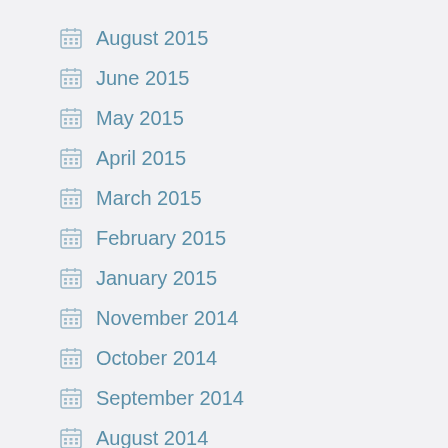August 2015
June 2015
May 2015
April 2015
March 2015
February 2015
January 2015
November 2014
October 2014
September 2014
August 2014
July 2014
June 2014
April 2014